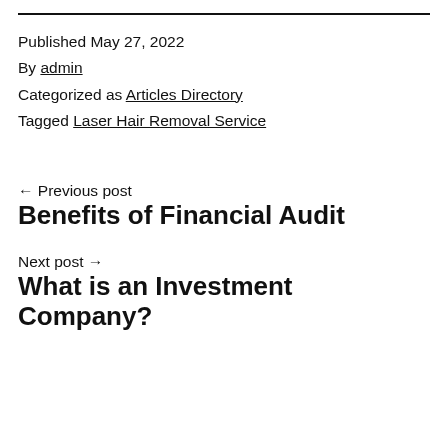Published May 27, 2022
By admin
Categorized as Articles Directory
Tagged Laser Hair Removal Service
← Previous post
Benefits of Financial Audit
Next post →
What is an Investment Company?